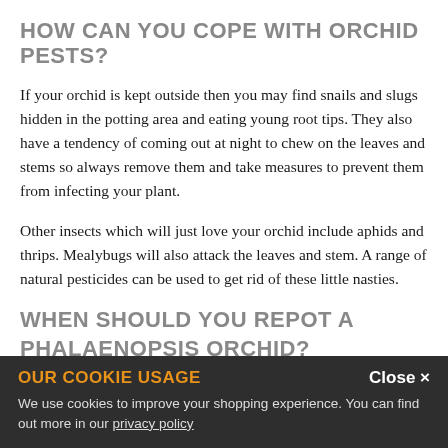HOW CAN YOU COPE WITH ORCHID PESTS?
If your orchid is kept outside then you may find snails and slugs hidden in the potting area and eating young root tips. They also have a tendency of coming out at night to chew on the leaves and stems so always remove them and take measures to prevent them from infecting your plant.
Other insects which will just love your orchid include aphids and thrips. Mealybugs will also attack the leaves and stem. A range of natural pesticides can be used to get rid of these little nasties.
WHEN SHOULD YOU REPOT A PHALAENOPSIS ORCHID?
You should repot your Phalaenopsis orchid every 18 to 24 months as the roots will begin needing additional space.
OUR COOKIE USAGE
We use cookies to improve your shopping experience. You can find out more in our privacy policy